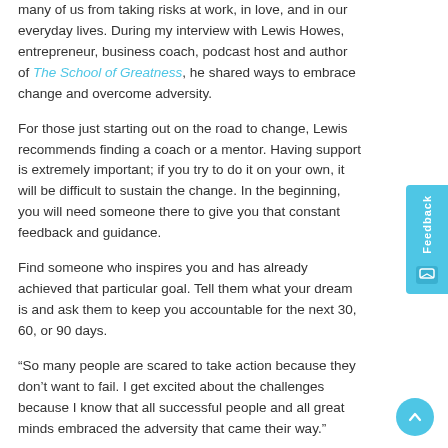many of us from taking risks at work, in love, and in our everyday lives. During my interview with Lewis Howes, entrepreneur, business coach, podcast host and author of The School of Greatness, he shared ways to embrace change and overcome adversity.
For those just starting out on the road to change, Lewis recommends finding a coach or a mentor. Having support is extremely important; if you try to do it on your own, it will be difficult to sustain the change. In the beginning, you will need someone there to give you that constant feedback and guidance.
Find someone who inspires you and has already achieved that particular goal. Tell them what your dream is and ask them to keep you accountable for the next 30, 60, or 90 days.
“So many people are scared to take action because they don’t want to fail. I get excited about the challenges because I know that all successful people and all great minds embraced the adversity that came their way.”
Lewis explained that all successful people face challenges on their way to the top. They come to a turning point when they can choose to either allow the challenge to hold them back or allow it to overcome them and...